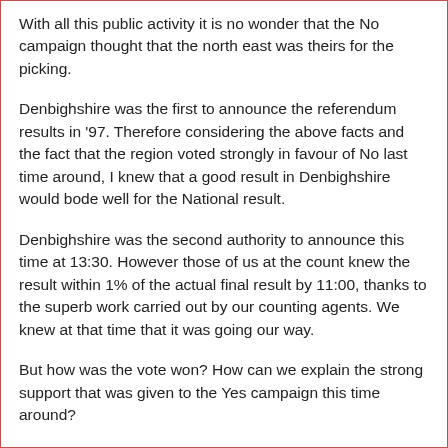With all this public activity it is no wonder that the No campaign thought that the north east was theirs for the picking.
Denbighshire was the first to announce the referendum results in '97. Therefore considering the above facts and the fact that the region voted strongly in favour of No last time around, I knew that a good result in Denbighshire would bode well for the National result.
Denbighshire was the second authority to announce this time at 13:30. However those of us at the count knew the result within 1% of the actual final result by 11:00, thanks to the superb work carried out by our counting agents. We knew at that time that it was going our way.
But how was the vote won? How can we explain the strong support that was given to the Yes campaign this time around?